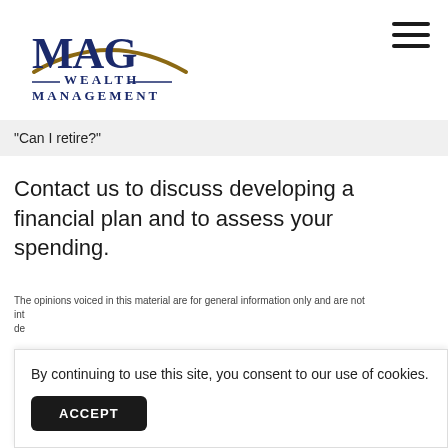[Figure (logo): MAG Wealth Management logo with gold arc and navy blue text]
“Can I retire?”
Contact us to discuss developing a financial plan and to assess your spending.
The opinions voiced in this material are for general information only and are not int de
By continuing to use this site, you consent to our use of cookies.